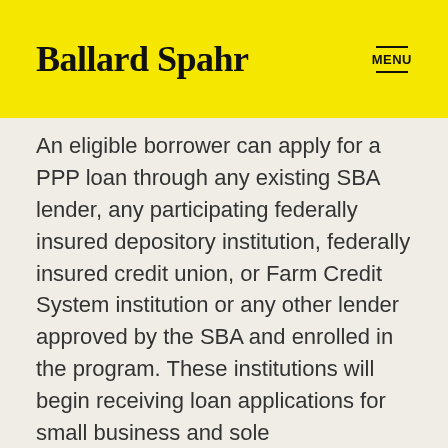Ballard Spahr
An eligible borrower can apply for a PPP loan through any existing SBA lender, any participating federally insured depository institution, federally insured credit union, or Farm Credit System institution or any other lender approved by the SBA and enrolled in the program. These institutions will begin receiving loan applications for small business and sole proprietorships on April 3 and loan applications for independent contractors and self-employed individuals on April 10. A link to the application can be found here.